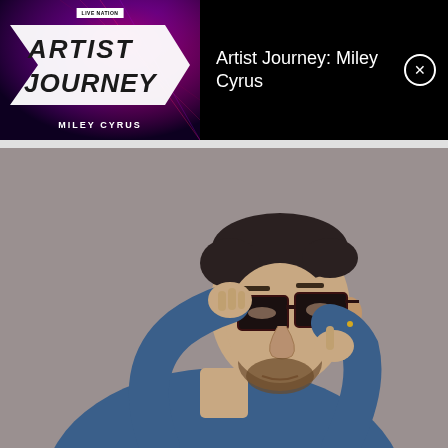[Figure (screenshot): Live Nation Artist Journey: Miley Cyrus advertisement banner with dark purple/red gradient background, white arrow logo shape, 'ARTIST JOURNEY' text, and 'MILEY CYRUS' subtitle]
Artist Journey: Miley Cyrus
[Figure (photo): A man with short dark hair and beard wearing dark-framed glasses and a denim shirt, holding his glasses with one hand and pointing near his eye with the other hand, against a gray background]